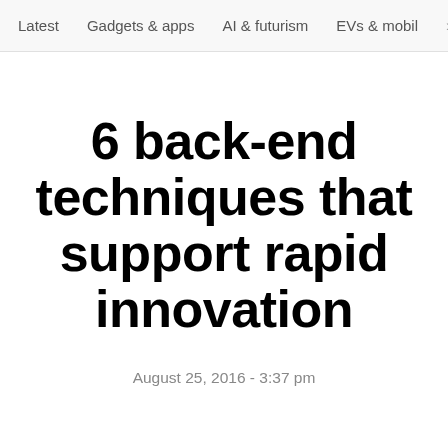Latest   Gadgets & apps   AI & futurism   EVs & mobil  >
6 back-end techniques that support rapid innovation
August 25, 2016 - 3:37 pm